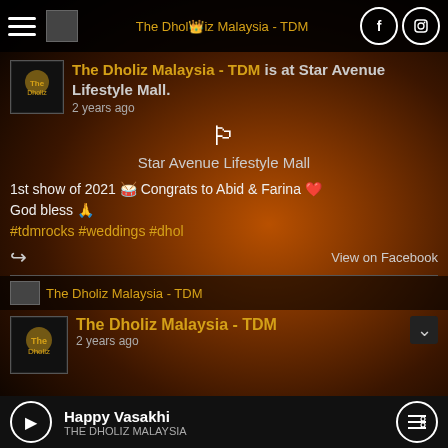The Dholiz Malaysia - TDM
[Figure (screenshot): Social media app interface showing Facebook posts from The Dholiz Malaysia - TDM page, with a fiery yellow-orange background illustration. Post content includes a check-in at Star Avenue Lifestyle Mall and a Happy Vasakhi post.]
The Dholiz Malaysia - TDM is at Star Avenue Lifestyle Mall.
2 years ago
Star Avenue Lifestyle Mall
1st show of 2021 🥁 Congrats to Abid & Farina ❤️ God bless 🙏
#tdmrocks #weddings #dhol
View on Facebook
The Dholiz Malaysia - TDM
The Dholiz Malaysia - TDM
2 years ago
Happy Vasakhi
THE DHOLIZ MALAYSIA